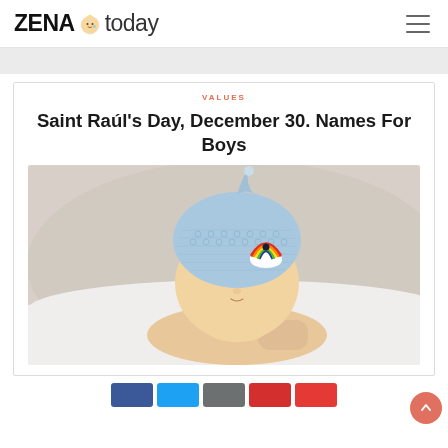ZENA today
VALUES
Saint Raúl's Day, December 30. Names For Boys
[Figure (photo): A sleeping newborn baby wearing a light blue crocheted hat with a rainbow and clouds emblem, resting its head on its hands on a white background.]
Social sharing buttons: Facebook, Twitter, Email, Pinterest, WhatsApp